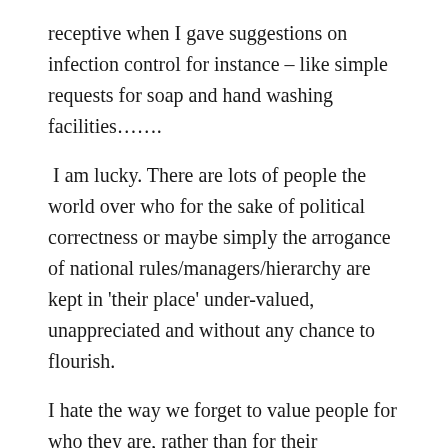receptive when I gave suggestions on infection control for instance – like simple requests for soap and hand washing facilities…….
I am lucky. There are lots of people the world over who for the sake of political correctness or maybe simply the arrogance of national rules/managers/hierarchy are kept in 'their place' under-valued, unappreciated and without any chance to flourish.
I hate the way we forget to value people for who they are, rather than for their occupation. Yet there is no denying that there should be the scope, to enable talented individuals to access educational opportunity or skill development and allow them to grow into the best they can be.